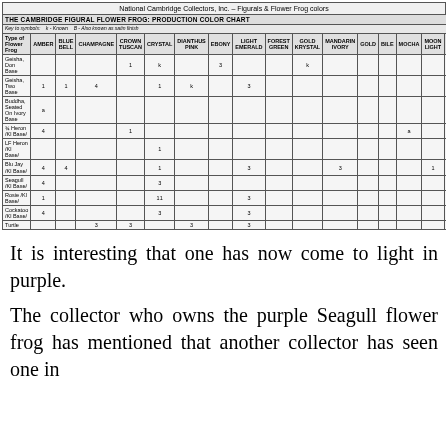National Cambridge Collectors, Inc. – Figurals & Flower Frog colors
| Type of Flower Frog | AMBER | BLUE BELL | CHAMPAGNE | CROWN TUSCAN | CRYSTAL | DIANTHUS PINK | EBONY | LIGHT EMERALD | FOREST GREEN | GOLD KRYSTAL | MANDARIN IVORY | GOLD | BILE | MOCHA | MOON LIGHT | PEACH BLO | WILLOW BLUE |
| --- | --- | --- | --- | --- | --- | --- | --- | --- | --- | --- | --- | --- | --- | --- | --- | --- | --- |
| Geisha, Don Base |  |  |  | 1 | k |  | 3 |  |  | k |  |  |  |  |  | 1 |  |
| Geisha, Two Base | 1 | 1 | 4 |  | 1 | k |  | 3 |  |  |  |  |  |  |  |  | 11 |
| Buddha, Seated On Ivory Base | a |  |  |  |  |  |  |  |  |  |  |  |  |  |  |  |  |
| ¾ Heron /Kl Base/ | 4 |  |  | 1 |  |  |  |  |  |  |  |  |  | a |  |  |  |
| LF Heron /Kl Base/ |  |  |  |  | 1 |  |  |  |  |  |  |  |  |  |  |  |  |
| Blu Jay /Kl Base/ | 4 | 4 |  |  | 1 |  |  | 3 |  |  | 3 |  |  |  | 1 |  |  |
| Seagull /Kl Base/ | 4 |  |  |  | 3 |  |  |  |  |  |  |  |  |  |  |  |  |
| Rosie /Kl Base/ | 1 |  |  |  | 11 |  |  | 3 |  |  |  |  |  |  |  | k | k |
| Cockatoo /Kl Base/ | 4 |  |  |  | 3 |  |  | 3 |  |  |  |  |  |  |  | k |  |
| Turtle |  |  | 3 | 3 |  | 3 |  | 3 |  |  |  |  |  |  |  |  | 4 |
It is interesting that one has now come to light in purple.
The collector who owns the purple Seagull flower frog has mentioned that another collector has seen one in